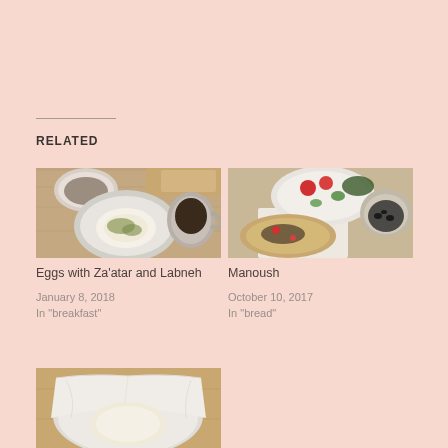RELATED
[Figure (photo): Overhead photo of eggs with za'atar and labneh on a plate with coffee and bread on a wooden table]
Eggs with Za'atar and Labneh
January 8, 2018
In "breakfast"
[Figure (photo): Photo of manoush flatbread with toppings, tomatoes, cucumbers and olives on plates on a table]
Manoush
October 10, 2017
In "bread"
[Figure (photo): Photo of a white cloth-strained cheese or labneh in a bowl on a wooden surface]